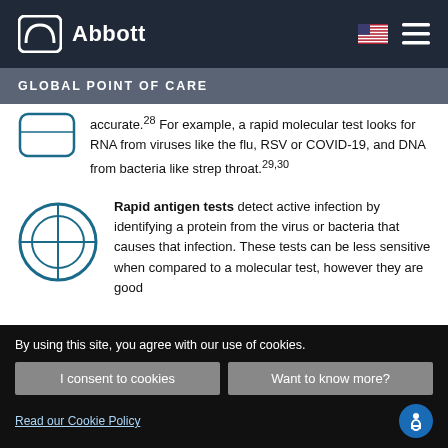Abbott — Global Point of Care
GLOBAL POINT OF CARE
accurate.28 For example, a rapid molecular test looks for RNA from viruses like the flu, RSV or COVID-19, and DNA from bacteria like strep throat.29,30
[Figure (illustration): Crosshair/target circle icon in teal outline]
Rapid antigen tests detect active infection by identifying a protein from the virus or bacteria that causes that infection. These tests can be less sensitive when compared to a molecular test, however they are good indicators of active infection. For…
By using this site, you agree with our use of cookies.
I consent to cookies
Want to know more?
Read our Cookie Policy